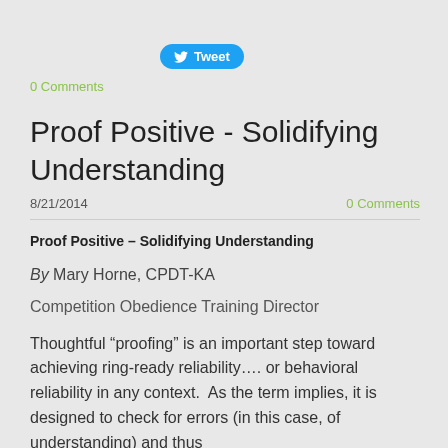[Figure (other): Twitter Tweet button with bird icon]
0 Comments
Proof Positive - Solidifying Understanding
8/21/2014
0 Comments
Proof Positive – Solidifying Understanding
By Mary Horne, CPDT-KA
Competition Obedience Training Director
Thoughtful “proofing” is an important step toward achieving ring-ready reliability…. or behavioral reliability in any context.  As the term implies, it is designed to check for errors (in this case, of understanding) and thus